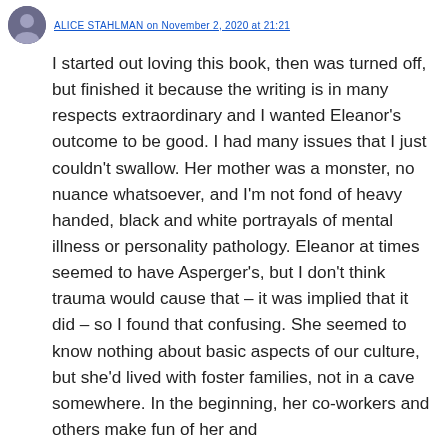ALICE STAHLMAN on November 2, 2020 at 21:21
I started out loving this book, then was turned off, but finished it because the writing is in many respects extraordinary and I wanted Eleanor's outcome to be good. I had many issues that I just couldn't swallow. Her mother was a monster, no nuance whatsoever, and I'm not fond of heavy handed, black and white portrayals of mental illness or personality pathology. Eleanor at times seemed to have Asperger's, but I don't think trauma would cause that – it was implied that it did – so I found that confusing. She seemed to know nothing about basic aspects of our culture, but she'd lived with foster families, not in a cave somewhere. In the beginning, her co-workers and others make fun of her and